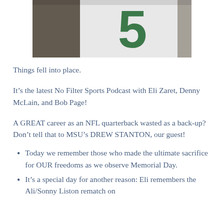[Figure (photo): Close-up of a football jersey with a green number 5 on white fabric, partially blurred background]
Things fell into place.
It’s the latest No Filter Sports Podcast with Eli Zaret, Denny McLain, and Bob Page!
A GREAT career as an NFL quarterback wasted as a back-up? Don’t tell that to MSU’s DREW STANTON, our guest!
Today we remember those who made the ultimate sacrifice for OUR freedoms as we observe Memorial Day.
It’s a special day for another reason: Eli remembers the Ali/Sonny Liston rematch on